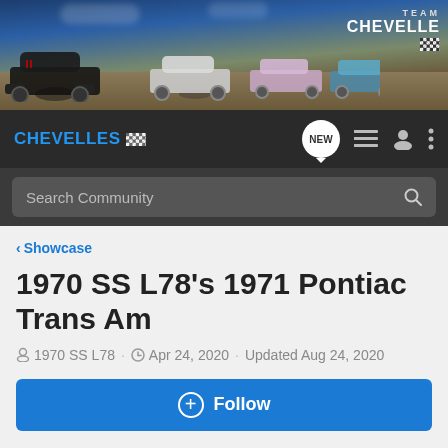[Figure (photo): Team Chevelle banner showing multiple classic Chevelle muscle cars parked on a coastal road at sunset, with 'TEAM CHEVELLE' branding in upper right corner]
CHEVELLES [checkered flag logo] — navigation bar with NEW button, list icon, profile icon, menu icon
Search Community
< Showcase
1970 SS L78's 1971 Pontiac Trans Am
1970 SS L78 · Apr 24, 2020 · Updated Aug 24, 2020
+ Follow